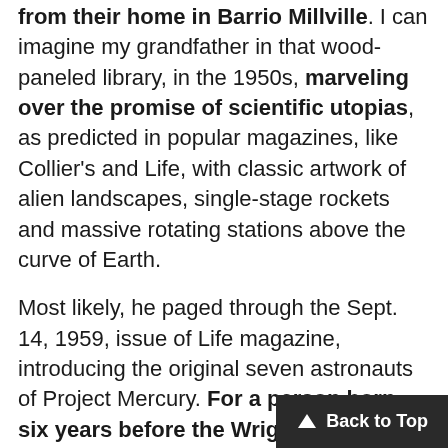from their home in Barrio Millville. I can imagine my grandfather in that wood-paneled library, in the 1950s, marveling over the promise of scientific utopias, as predicted in popular magazines, like Collier's and Life, with classic artwork of alien landscapes, single-stage rockets and massive rotating stations above the curve of Earth.
Most likely, he paged through the Sept. 14, 1959, issue of Life magazine, introducing the original seven astronauts of Project Mercury. For a person born six years before the Wright brothers' first flight, the possibilities of the future must have seemed limitless. One month before Yuri Gagarin rocketed into outer space, however, my grandfather died. I was born a few years later and inherited his fervor.